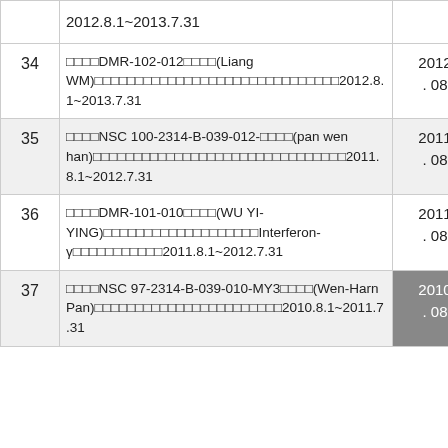| # | Description | Date |
| --- | --- | --- |
|  | 2012.8.1~2013.7.31 |  |
| 34 | □□□□DMR-102-012□□□□(Liang WM)□□□□□□□□□□□□□□□□□□□□□□□□□□□□□□□□□2012.8.1~2013.7.31 | 2012. 08 |
| 35 | □□□□NSC 100-2314-B-039-012-□□□□(pan wen han)□□□□□□□□□□□□□□□□□□□□□□□□□□□□□□□□2011.8.1~2012.7.31 | 2011. 08 |
| 36 | □□□□DMR-101-010□□□□(WU YI-YING)□□□□□□□□□□□□□□□□□□□Interferon-γ□□□□□□□□□□□2011.8.1~2012.7.31 | 2011. 08 |
| 37 | □□□□NSC 97-2314-B-039-010-MY3□□□□(Wen-Harn Pan)□□□□□□□□□□□□□□□□□□□□□□□2010.8.1~2011.7.31 | 2010. 08 |